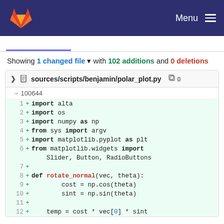GitLab navigation bar with Menu
Showing 1 changed file with 102 additions and 0 deletions
sources/scripts/benjamin/polar_plot.py → 100644
1 + import alta
2 + import os
3 + import numpy as np
4 + from sys import argv
5 + import matplotlib.pyplot as plt
6 + from matplotlib.widgets import Slider, Button, RadioButtons
7 +
8 + def rotate_normal(vec, theta):
9 +     cost = np.cos(theta)
10 +     sint = np.sin(theta)
11 +
12 +     temp = cost * vec[0] * sint